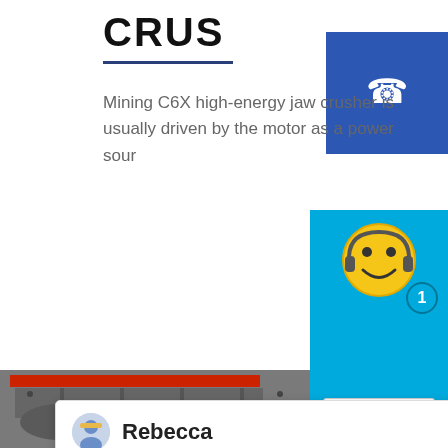CRUS
Mining C6X high-energy jaw crusher is usually driven by the motor as a power sour
[Figure (screenshot): Blue phone/contact icon box in top-right corner]
[Figure (screenshot): Chat popup overlay with agent named Rebecca from Liming Heavy Industry saying: Welcome to Liming Heavy Industry! Now our online service is chatting with you! Please choose the language]
[Figure (photo): Industrial jaw crusher machine photographed in a factory setting, gray metallic structure]
[Figure (screenshot): Live chat smiley face widget with badge number 1 and Click me to chat button]
Enquiry
cywaitml@gmail.com